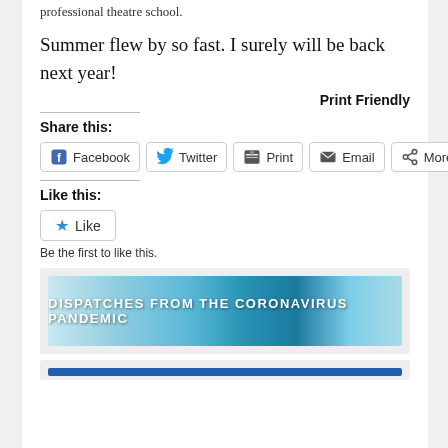professional theatre school.
Summer flew by so fast. I surely will be back next year!
Print Friendly
Share this:
Facebook Twitter Print Email More
Like this:
Like
Be the first to like this.
[Figure (illustration): Banner image reading 'DISPATCHES FROM THE CORONAVIRUS PANDEMIC' over a blue-toned background with lab imagery]
[Figure (illustration): Partial second banner with a blue bar at the bottom]